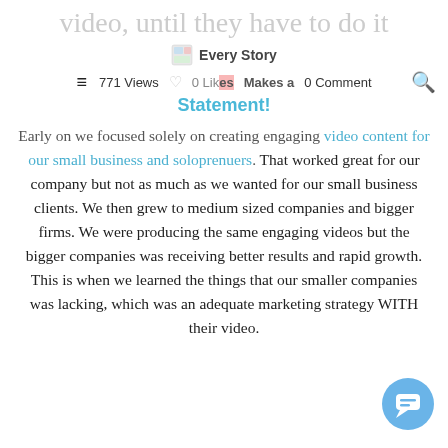video, until they have to do it
[Figure (logo): Every Story logo with small image icon]
771 Views   0 Likes  Makes a  0 Comment
Makes a Statement!
Early on we focused solely on creating engaging video content for our small business and soloprenuers. That worked great for our company but not as much as we wanted for our small business clients. We then grew to medium sized companies and bigger firms. We were producing the same engaging videos but the bigger companies was receiving better results and rapid growth. This is when we learned the things that our smaller companies was lacking, which was an adequate marketing strategy WITH their video.